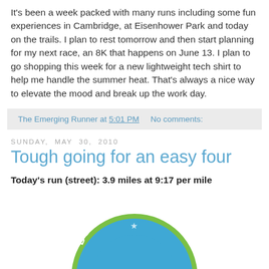It's been a week packed with many runs including some fun experiences in Cambridge, at Eisenhower Park and today on the trails. I plan to rest tomorrow and then start planning for my next race, an 8K that happens on June 13. I plan to go shopping this week for a new lightweight tech shirt to help me handle the summer heat. That's always a nice way to elevate the mood and break up the work day.
The Emerging Runner at 5:01 PM    No comments:
Sunday, May 30, 2010
Tough going for an easy four
Today's run (street): 3.9 miles at 9:17 per mile
[Figure (photo): Boston's Run To logo — a circular blue and green badge with white text reading BOSTON'S RUN TO around the top arc]